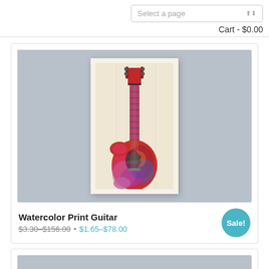Select a page
Cart - $0.00
[Figure (illustration): Watercolor print of a colorful electric guitar on a vintage paper background, displayed as a product image on a gray background with white mat border.]
Watercolor Print Guitar
$3.30–$156.00 • $1.65–$78.00
Sale!